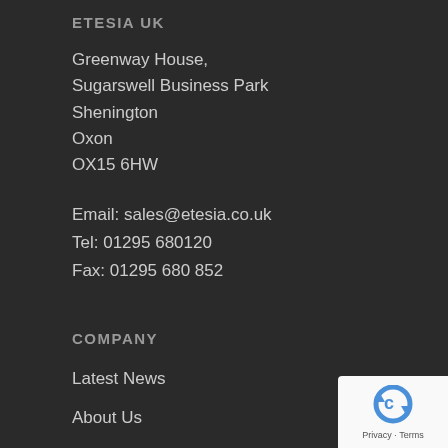ETESIA UK
Greenway House,
Sugarswell Business Park
Shenington
Oxon
OX15 6HW
Email: sales@etesia.co.uk
Tel: 01295 680120
Fax: 01295 680 852
COMPANY
Latest News
About Us
[Figure (logo): reCAPTCHA badge with Privacy and Terms text]